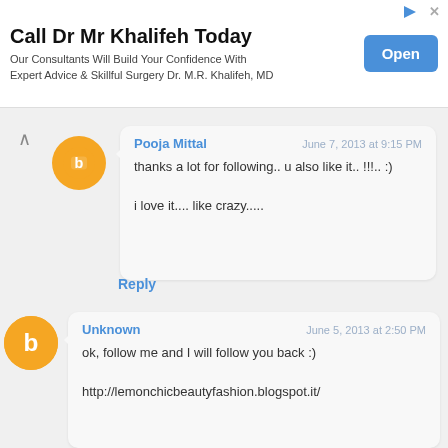[Figure (infographic): Advertisement banner for Dr Mr Khalifeh with blue Open button]
Call Dr Mr Khalifeh Today
Our Consultants Will Build Your Confidence With Expert Advice & Skillful Surgery Dr. M.R. Khalifeh, MD
Pooja Mittal
June 7, 2013 at 9:15 PM
thanks a lot for following.. u also like it.. !!!.. :)

i love it.... like crazy.....
Reply
Unknown
June 5, 2013 at 2:50 PM
ok, follow me and I will follow you back :)

http://lemonchicbeautyfashion.blogspot.it/